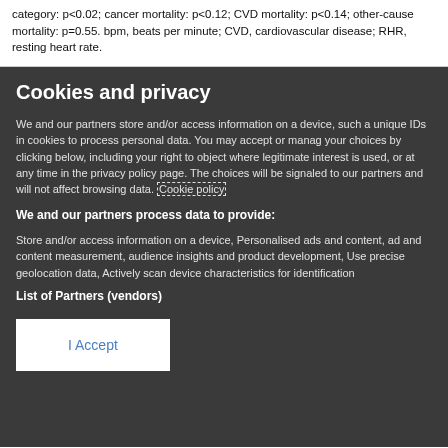category: p<0.02; cancer mortality: p<0.12; CVD mortality: p<0.14; other-cause mortality: p=0.55. bpm, beats per minute; CVD, cardiovascular disease; RHR, resting heart rate.
Cookies and privacy
We and our partners store and/or access information on a device, such as unique IDs in cookies to process personal data. You may accept or manage your choices by clicking below, including your right to object where legitimate interest is used, or at any time in the privacy policy page. These choices will be signaled to our partners and will not affect browsing data. Cookie policy
We and our partners process data to provide:
Store and/or access information on a device, Personalised ads and content, ad and content measurement, audience insights and product development, Use precise geolocation data, Actively scan device characteristics for identification
List of Partners (vendors)
I Accept